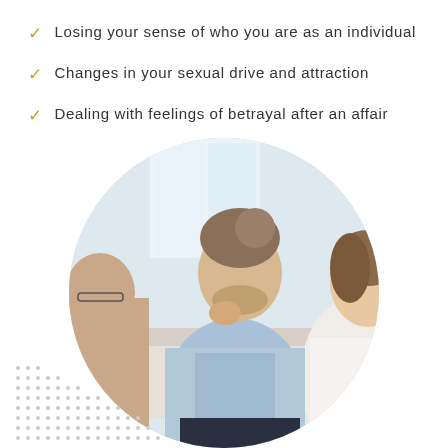Losing your sense of who you are as an individual
Changes in your sexual drive and attraction
Dealing with feelings of betrayal after an affair
[Figure (photo): A couple sitting in a therapy session. A man in a light blue shirt sits cross-legged with his hand on his chin in a thoughtful pose, while a woman in a white top looks at him. A third person (therapist) is partially visible on the left. A dotted pattern decoration appears in the lower left corner.]